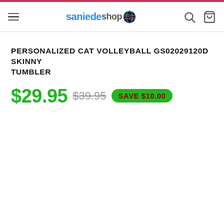saniede shop
PERSONALIZED CAT VOLLEYBALL GS02029120D SKINNY TUMBLER
$29.95  $39.95  SAVE $10.00